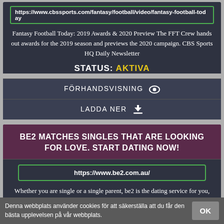https://www.cbssports.com/fantasy/football/video/fantasy-football-today
Fantasy Football Today: 2019 Awards & 2020 Preview The FFT Crew hands out awards for the 2019 season and previews the 2020 campaign. CBS Sports HQ Daily Newsletter
STATUS: AKTIVA
FÖRHANDSVISNING 👁
LADDA NER ⬇
BE2 MATCHES SINGLES THAT ARE LOOKING FOR LOVE. START DATING NOW!
https://www.be2.com.au/
Whether you are single or a single parent, be2 is the dating service for you, we help you find love. Complete our personality test and we match you!
Denna webbplats använder cookies för att säkerställa att du får den bästa upplevelsen på vår webbplats.